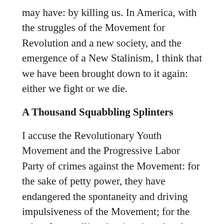may have: by killing us. In America, with the struggles of the Movement for Revolution and a new society, and the emergence of a New Stalinism, I think that we have been brought down to it again: either we fight or we die.
A Thousand Squabbling Splinters
I accuse the Revolutionary Youth Movement and the Progressive Labor Party of crimes against the Movement: for the sake of petty power, they have endangered the spontaneity and driving impulsiveness of the Movement; for the sake of controlling the situation, they have threatened to hack the Movement into a thousand squabbling splinters; for the sake of subjectivist abstractions, they have resurrected the grim and murderous pallor of Stalin; for the sake of